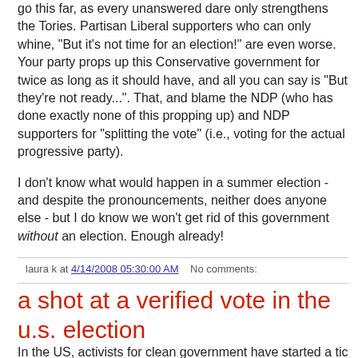go this far, as every unanswered dare only strengthens the Tories. Partisan Liberal supporters who can only whine, "But it's not time for an election!" are even worse. Your party props up this Conservative government for twice as long as it should have, and all you can say is "But they're not ready...". That, and blame the NDP (who has done exactly none of this propping up) and NDP supporters for "splitting the vote" (i.e., voting for the actual progressive party).
I don't know what would happen in a summer election - and despite the pronouncements, neither does anyone else - but I do know we won't get rid of this government without an election. Enough already!
laura k at 4/14/2008 05:30:00 AM   No comments:
a shot at a verified vote in the u.s. election
In the US, activists for clean government have started a tic